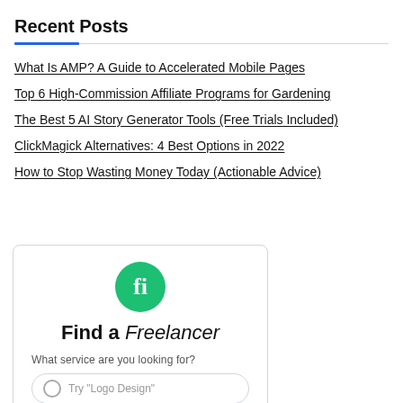Recent Posts
What Is AMP? A Guide to Accelerated Mobile Pages
Top 6 High-Commission Affiliate Programs for Gardening
The Best 5 AI Story Generator Tools (Free Trials Included)
ClickMagick Alternatives: 4 Best Options in 2022
How to Stop Wasting Money Today (Actionable Advice)
[Figure (infographic): Fiverr widget with green circle logo containing 'fi', heading 'Find a Freelancer', subtext 'What service are you looking for?' and a search input field with placeholder 'Try "Logo Design"']